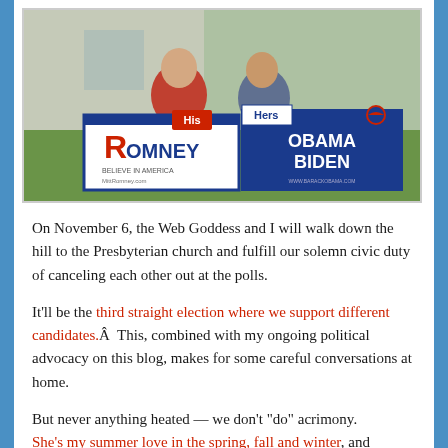[Figure (photo): A couple sitting on grass in front of a house, kissing, while holding campaign yard signs. On the left is a Romney 'Believe in America' sign with 'His' label in red. On the right is an Obama Biden sign with 'Hers' label.]
On November 6, the Web Goddess and I will walk down the hill to the Presbyterian church and fulfill our solemn civic duty of canceling each other out at the polls.
It'll be the third straight election where we support different candidates.Â  This, combined with my ongoing political advocacy on this blog, makes for some careful conversations at home.
But never anything heated — we don't “do” acrimony. She's my summer love in the spring, fall and winter, and